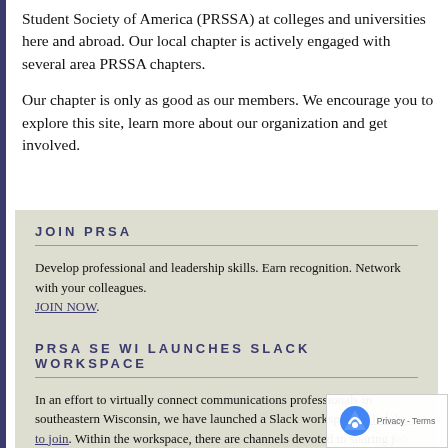Student Society of America (PRSSA) at colleges and universities here and abroad. Our local chapter is actively engaged with several area PRSSA chapters.
Our chapter is only as good as our members. We encourage you to explore this site, learn more about our organization and get involved.
JOIN PRSA
Develop professional and leadership skills. Earn recognition. Network with your colleagues. JOIN NOW.
PRSA SE WI LAUNCHES SLACK WORKSPACE
In an effort to virtually connect communications professionals in southeastern Wisconsin, we have launched a Slack workspace. Click here to join. Within the workspace, there are channels devoted to sharing job opportunities, resources, events, and more.